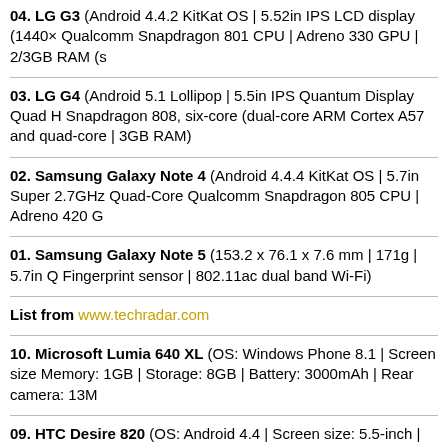04. LG G3 (Android 4.4.2 KitKat OS | 5.52in IPS LCD display (1440× Qualcomm Snapdragon 801 CPU | Adreno 330 GPU | 2/3GB RAM (s
03. LG G4 (Android 5.1 Lollipop | 5.5in IPS Quantum Display Quad H Snapdragon 808, six-core (dual-core ARM Cortex A57 and quad-core | 3GB RAM)
02. Samsung Galaxy Note 4 (Android 4.4.4 KitKat OS | 5.7in Super 2.7GHz Quad-Core Qualcomm Snapdragon 805 CPU | Adreno 420 G
01. Samsung Galaxy Note 5 (153.2 x 76.1 x 7.6 mm | 171g | 5.7in Q Fingerprint sensor | 802.11ac dual band Wi-Fi)
List from www.techradar.com
10. Microsoft Lumia 640 XL (OS: Windows Phone 8.1 | Screen size Memory: 1GB | Storage: 8GB | Battery: 3000mAh | Rear camera: 13M
09. HTC Desire 820 (OS: Android 4.4 | Screen size: 5.5-inch | Resol 16GB | Battery: 2600mAh | Rear camera: 13MP | Front camera: 8MP